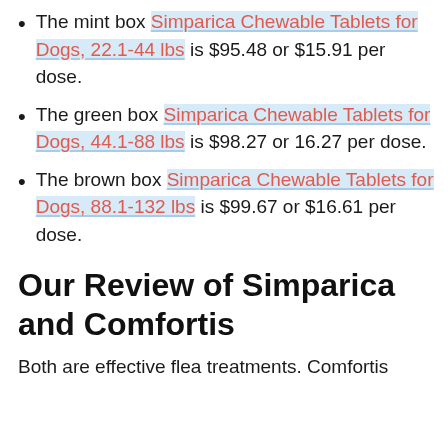The mint box Simparica Chewable Tablets for Dogs, 22.1-44 lbs is $95.48 or $15.91 per dose.
The green box Simparica Chewable Tablets for Dogs, 44.1-88 lbs is $98.27 or 16.27 per dose.
The brown box Simparica Chewable Tablets for Dogs, 88.1-132 lbs is $99.67 or $16.61 per dose.
Our Review of Simparica and Comfortis
Both are effective flea treatments. Comfortis